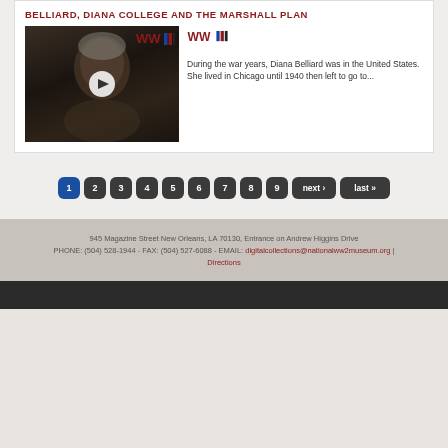BELLIARD, DIANA COLLEGE AND THE MARSHALL PLAN
[Figure (photo): Video thumbnail showing an elderly woman with gray hair against a dark background, with a white circular play button overlay. WWII museum logo visible.]
During the war years, Diana Belliard was in the United States. She lived in Chicago until 1940 then left to go to...
Pagination: 1 (active), 2, 3, 4, 5, 6, 7, 8, 9, next ›, last »
945 Magazine Street New Orleans, LA 70130, Entrance on Andrew Higgins Drive
PHONE: (504) 528-1944 - FAX: (504) 527-6088 - EMAIL: digitalcollections@nationalww2museum.org | Directions